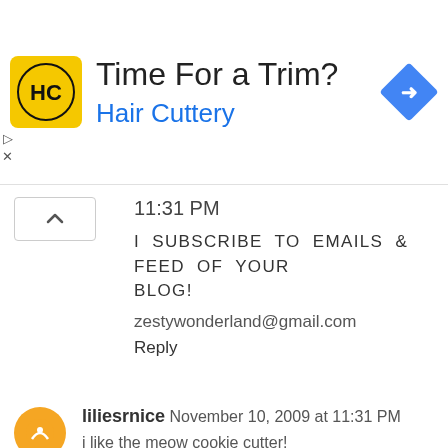[Figure (infographic): Advertisement banner for Hair Cuttery with yellow HC logo, title 'Time For a Trim?', subtitle 'Hair Cuttery' in blue, and a blue diamond navigation arrow icon on the right.]
11:31 PM
I SUBSCRIBE TO EMAILS & FEED OF YOUR BLOG!
zestywonderland@gmail.com
Reply
liliesrnice November 10, 2009 at 11:31 PM
i like the meow cookie cutter!
Reply
ZESTYWONDERLAND November 10, 2009 at 11:33 PM